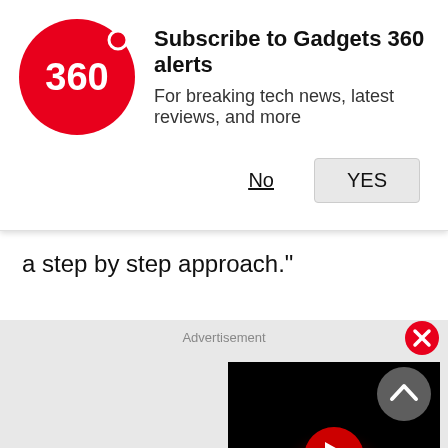[Figure (screenshot): Gadgets 360 notification banner with red circular logo showing '360', bold title 'Subscribe to Gadgets 360 alerts', subtitle 'For breaking tech news, latest reviews, and more', and two buttons: 'No' (underlined) and 'YES' (grey button)]
a step by step approach."
Advertisement
[Figure (screenshot): Close button - red circle with white X]
[Figure (screenshot): Video player thumbnail - black background with red glowing play button circle]
[Figure (screenshot): Scroll to top button - dark grey circle with white upward chevron]